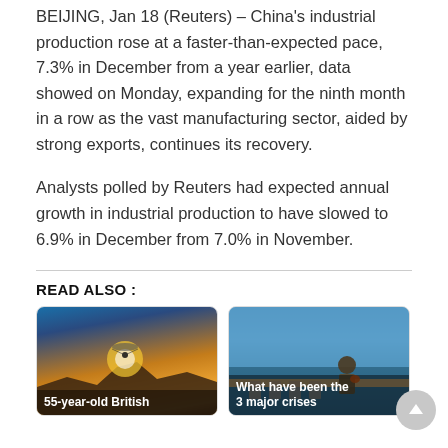BEIJING, Jan 18 (Reuters) – China's industrial production rose at a faster-than-expected pace, 7.3% in December from a year earlier, data showed on Monday, expanding for the ninth month in a row as the vast manufacturing sector, aided by strong exports, continues its recovery.
Analysts polled by Reuters had expected annual growth in industrial production to have slowed to 6.9% in December from 7.0% in November.
READ ALSO :
[Figure (photo): Paraglider silhouetted against sunset sky over rocky landscape, with caption '55-year-old British']
[Figure (photo): Military figure standing at coastal fortification looking out to sea, with caption 'What have been the 3 major crises']